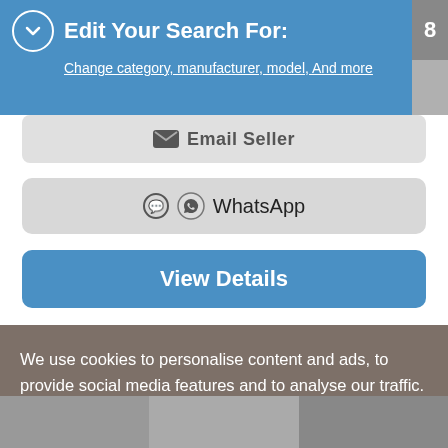Edit Your Search For:
Change category, manufacturer, model, And more
Email Seller
WhatsApp
View Details
We use cookies to personalise content and ads, to provide social media features and to analyse our traffic. We also share information about your use of our site with our social media, advertising and analytics partner. Learn More
Got it!